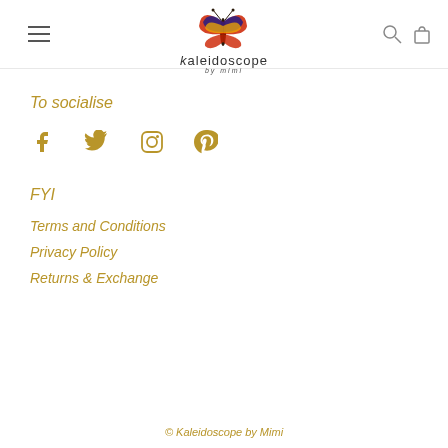[Figure (logo): Kaleidoscope by Mimi logo with butterfly graphic and text]
To socialise
[Figure (infographic): Social media icons: Facebook, Twitter, Instagram, Pinterest in gold color]
FYI
Terms and Conditions
Privacy Policy
Returns & Exchange
© Kaleidoscope by Mimi